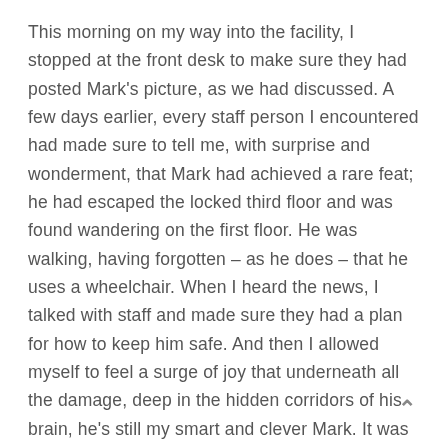This morning on my way into the facility, I stopped at the front desk to make sure they had posted Mark's picture, as we had discussed. A few days earlier, every staff person I encountered had made sure to tell me, with surprise and wonderment, that Mark had achieved a rare feat; he had escaped the locked third floor and was found wandering on the first floor. He was walking, having forgotten – as he does – that he uses a wheelchair. When I heard the news, I talked with staff and made sure they had a plan for how to keep him safe. And then I allowed myself to feel a surge of joy that underneath all the damage, deep in the hidden corridors of his brain, he's still my smart and clever Mark. It was delightful and funny. That's my guy, still the troublemaker.